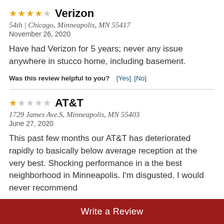★★★★☆ Verizon
54th | Chicago, Minneapolis, MN 55417
November 26, 2020
Have had Verizon for 5 years; never any issue anywhere in stucco home, including basement.
Was this review helpful to you? [Yes] [No]
★☆☆☆☆ AT&T
1729 James Ave.S, Minneapolis, MN 55403
June 27, 2020
This past few months our AT&T has deteriorated rapidly to basically below average reception at the very best. Shocking performance in a the best neighborhood in Minneapolis. I'm disgusted. I would never recommend
Write a Review